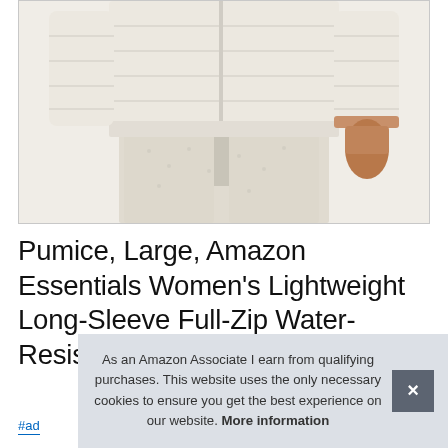[Figure (photo): Product photo of a woman wearing a cream/off-white puffer jacket with full-zip front, paired with matching cream fleece pants. The torso and lower body are visible, hands at sides.]
Pumice, Large, Amazon Essentials Women's Lightweight Long-Sleeve Full-Zip Water-Resistant Packable Hooded Pu...
#ad
As an Amazon Associate I earn from qualifying purchases. This website uses the only necessary cookies to ensure you get the best experience on our website. More information